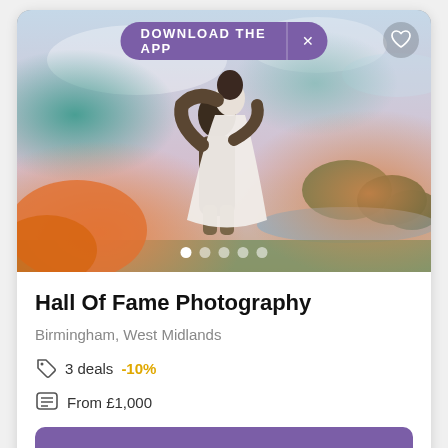[Figure (photo): Wedding couple photo: groom lifting bride surrounded by colorful smoke bombs (orange, teal) with a lake and trees in background. App download banner at top reading 'DOWNLOAD THE APP' with an X close button. Heart/favorite icon top right. Carousel dots at bottom showing 5 slides.]
Hall Of Fame Photography
Birmingham, West Midlands
3 deals  -10%
From £1,000